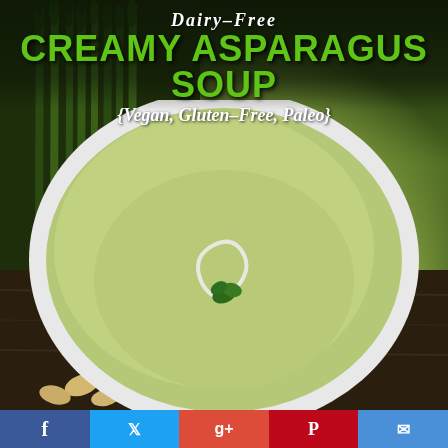[Figure (photo): Food photo showing a white bowl of creamy green asparagus soup with a swirl of cream and herb garnish, with fresh asparagus stalks and cashews on a wooden background]
Dairy-Free Creamy Asparagus Soup {Vegan, Gluten-Free, Paleo}
[Figure (other): Social media sharing bar with Facebook, Twitter, Google+, Pinterest, and email buttons]